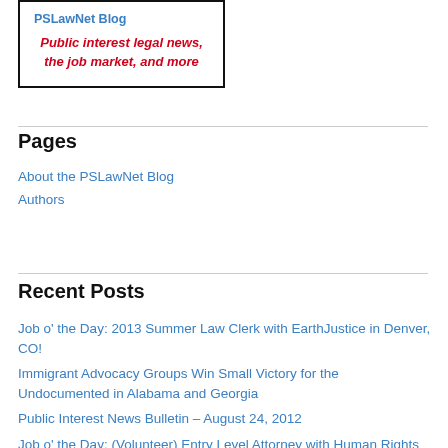[Figure (other): Promotional box with a link and red italic text: 'Public interest legal news, the job market, and more']
Pages
About the PSLawNet Blog
Authors
Recent Posts
Job o' the Day: 2013 Summer Law Clerk with EarthJustice in Denver, CO!
Immigrant Advocacy Groups Win Small Victory for the Undocumented in Alabama and Georgia
Public Interest News Bulletin – August 24, 2012
Job o' the Day: (Volunteer) Entry Level Attorney with Human Rights Watch in Senegal!